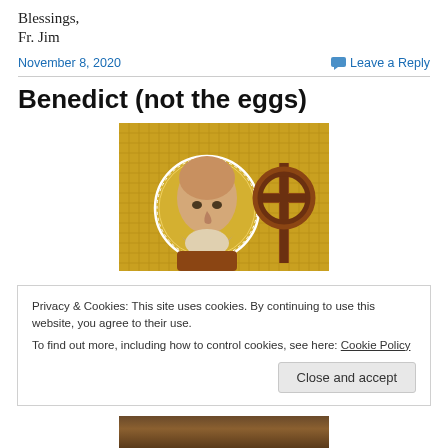Blessings,
Fr. Jim
November 8, 2020
Leave a Reply
Benedict (not the eggs)
[Figure (photo): Religious icon image of a saint with golden halo background and a cross, partially cropped]
Privacy & Cookies: This site uses cookies. By continuing to use this website, you agree to their use.
To find out more, including how to control cookies, see here: Cookie Policy
Close and accept